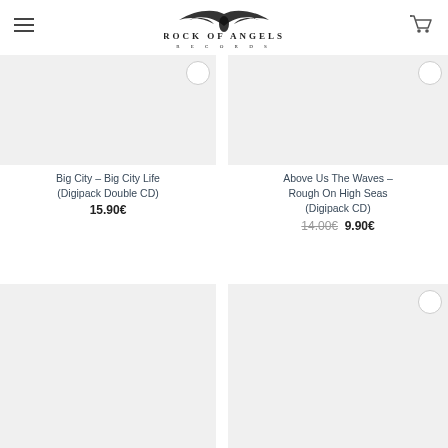Rock Of Angels Records
Big City – Big City Life (Digipack Double CD)
15.90€
Above Us The Waves – Rough On High Seas (Digipack CD)
14.00€  9.90€
[Figure (screenshot): Product image placeholder for second row left item with Sale! badge]
[Figure (screenshot): Product image placeholder for second row right item]